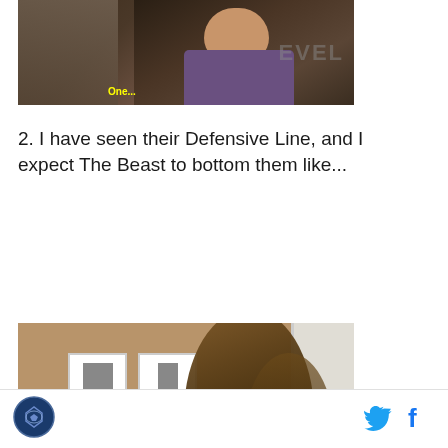[Figure (photo): Screenshot from a TV show or film showing two people talking, with yellow subtitle text reading 'One...' at the bottom]
2. I have seen their Defensive Line, and I expect The Beast to bottom them like...
[Figure (photo): Blurred image of a large furry creature (Wookiee/Chewbacca) in a room with framed pictures on a tan wall and white wainscoting]
SB Nation logo | Twitter icon | Facebook icon